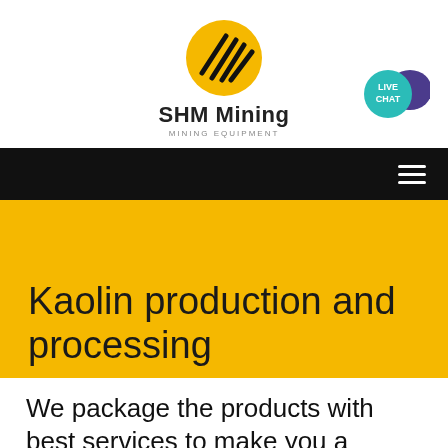[Figure (logo): SHM Mining logo — yellow oval with black diagonal lines, company name 'SHM Mining' and subtitle 'MINING EQUIPMENT']
[Figure (other): Live Chat badge — teal circle with 'LIVE CHAT' text and purple speech bubble icon]
[Figure (other): Black navigation bar with white hamburger menu icon (three horizontal lines)]
Kaolin production and processing
We package the products with best services to make you a happy